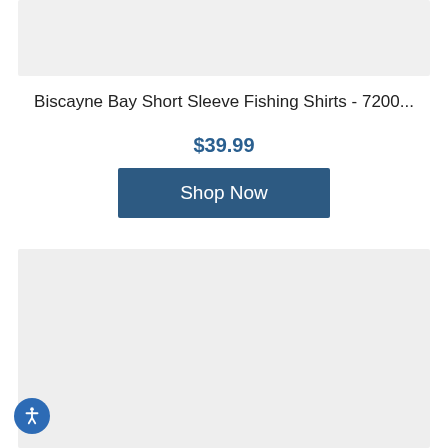[Figure (photo): Top product image placeholder — light gray rectangle]
Biscayne Bay Short Sleeve Fishing Shirts - 7200...
$39.99
Shop Now
[Figure (photo): Bottom product image placeholder — light gray rectangle]